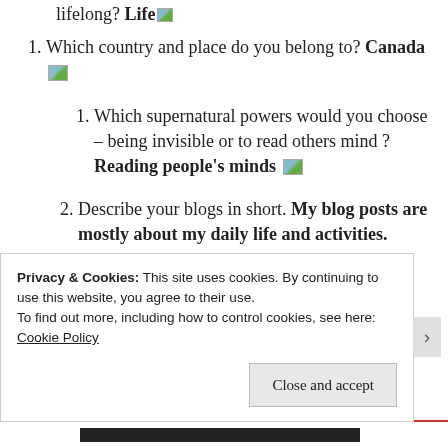lifelong? Life [image]
1. Which country and place do you belong to? Canada [image]
1. Which supernatural powers would you choose – being invisible or to read others mind ? Reading people's minds [image]
2. Describe your blogs in short. My blog posts are mostly about my daily life and activities.
3. [partially visible, cut off]
Privacy & Cookies: This site uses cookies. By continuing to use this website, you agree to their use.
To find out more, including how to control cookies, see here: Cookie Policy
Close and accept